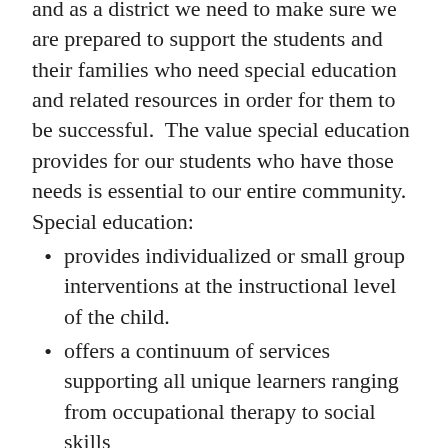and as a district we need to make sure we are prepared to support the students and their families who need special education and related resources in order for them to be successful.  The value special education provides for our students who have those needs is essential to our entire community. Special education:
provides individualized or small group interventions at the instructional level of the child.
offers a continuum of services supporting all unique learners ranging from occupational therapy to social skills